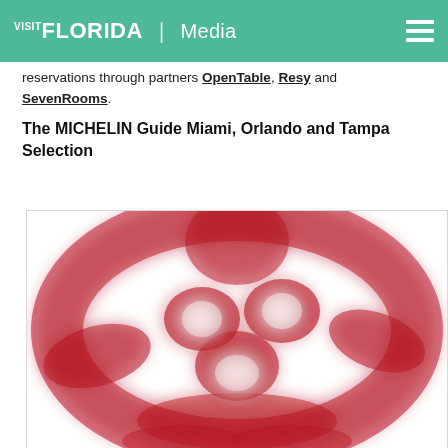VISIT FLORIDA | Media
reservations through partners OpenTable, Resy and SevenRooms.
The MICHELIN Guide Miami, Orlando and Tampa Selection
[Figure (logo): Michelin Man (Bibendum) logo in red and white, close-up/blurred view]